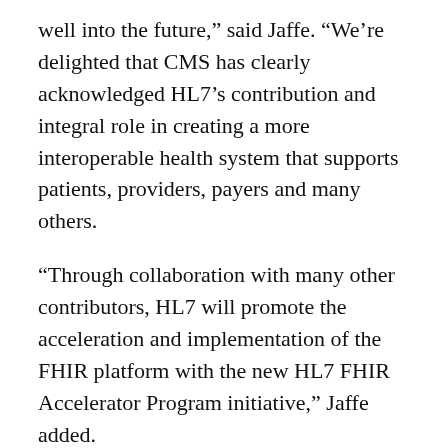well into the future,” said Jaffe. “We’re delighted that CMS has clearly acknowledged HL7’s contribution and integral role in creating a more interoperable health system that supports patients, providers, payers and many others.
“Through collaboration with many other contributors, HL7 will promote the acceleration and implementation of the FHIR platform with the new HL7 FHIR Accelerator Program initiative,” Jaffe added.
Implementation communities will be able to select a range of solutions based on their own needs and resources, ranging from self-service templates and tools, to contracted project management, SME and infrastructure services.
Certain minimum program requirements for